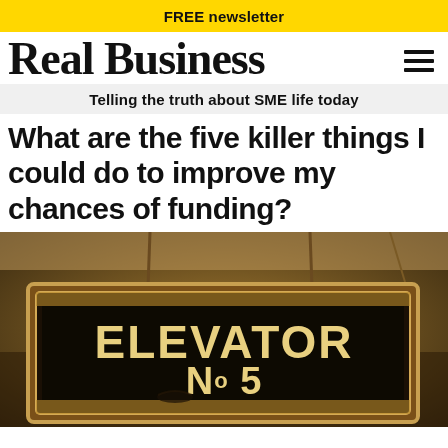FREE newsletter
Real Business
Telling the truth about SME life today
What are the five killer things I could do to improve my chances of funding?
[Figure (photo): Sepia-toned photograph of a hanging sign reading 'ELEVATOR No 5' in large ornate letters on a dark background, suspended from a wooden beam or structure.]